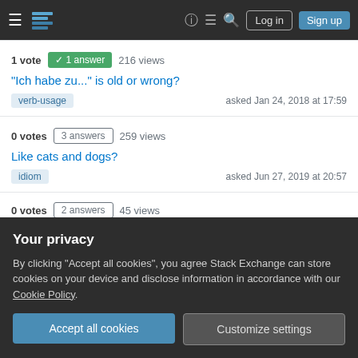Stack Exchange navigation bar with hamburger menu, logo, help, chat, search icons, Log in and Sign up buttons
1 vote  ✓ 1 answer  216 views
"Ich habe zu..." is old or wrong?
verb-usage  asked Jan 24, 2018 at 17:59
0 votes  3 answers  259 views
Like cats and dogs?
idiom  asked Jun 27, 2019 at 20:57
0 votes  2 answers  45 views
Your privacy
By clicking "Accept all cookies", you agree Stack Exchange can store cookies on your device and disclose information in accordance with our Cookie Policy.
Accept all cookies
Customize settings